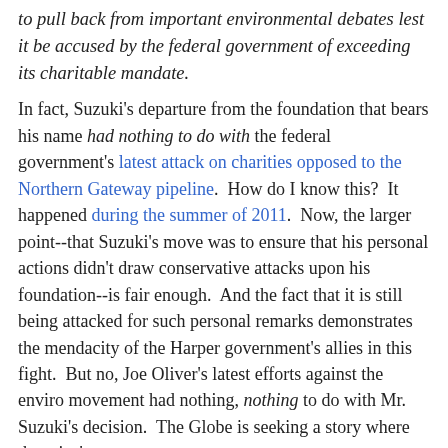Foundation, said the group is facing a 'chill' that is leading it to pull back from important environmental debates lest it be accused by the federal government of exceeding its charitable mandate.
In fact, Suzuki's departure from the foundation that bears his name had nothing to do with the federal government's latest attack on charities opposed to the Northern Gateway pipeline. How do I know this? It happened during the summer of 2011. Now, the larger point--that Suzuki's move was to ensure that his personal actions didn't draw conservative attacks upon his foundation--is fair enough. And the fact that it is still being attacked for such personal remarks demonstrates the mendacity of the Harper government's allies in this fight. But no, Joe Oliver's latest efforts against the enviro movement had nothing, nothing to do with Mr. Suzuki's decision. The Globe is seeking a story where there isn't one.
bigcitylib at 6:33 AM   No comments:
Share